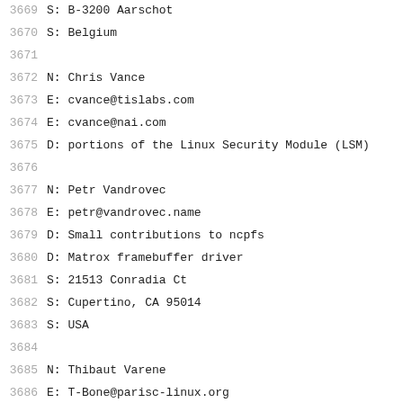3669  S: B-3200 Aarschot
3670  S: Belgium
3671
3672  N: Chris Vance
3673  E: cvance@tislabs.com
3674  E: cvance@nai.com
3675  D: portions of the Linux Security Module (LSM)
3676
3677  N: Petr Vandrovec
3678  E: petr@vandrovec.name
3679  D: Small contributions to ncpfs
3680  D: Matrox framebuffer driver
3681  S: 21513 Conradia Ct
3682  S: Cupertino, CA 95014
3683  S: USA
3684
3685  N: Thibaut Varene
3686  E: T-Bone@parisc-linux.org
3687  W: http://www.parisc-linux.org/~varenet/
3688  P: 1024D/B7D2F063 E67C 0D43 A75E 12A5 BB1C  FA2
3689  D: PA-RISC port minion, PDC and GSCPS2 drivers,